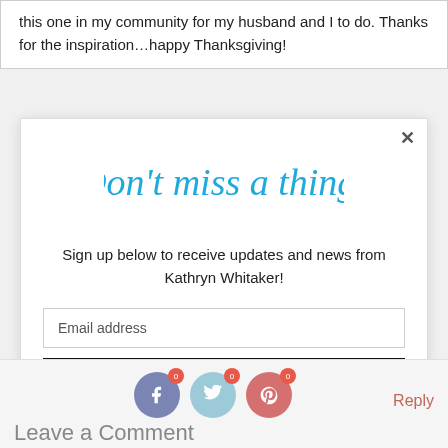this one in my community for my husband and I to do. Thanks for the inspiration…happy Thanksgiving!
[Figure (illustration): Script/cursive blue handwriting style text reading 'Don't miss a thing!']
Sign up below to receive updates and news from Kathryn Whitaker!
Email address
Subscribe
Reply
Leave a Comment